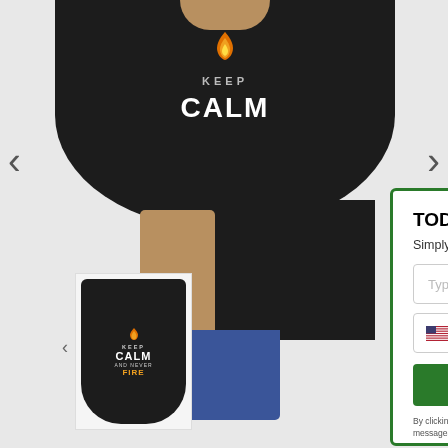[Figure (photo): E-commerce page showing a man wearing a black Keep Calm t-shirt with a flame design. A popup modal with green border overlays the right side offering a secret discount code via email and phone number entry.]
TODAY: A SECRET DISCOU
Simply enter your details below to get yo
Type Your Email Here
Phone Number
SHOW ME MY SECRET
By clicking SHOW ME MY SECRET CODE, you agree to receive messages from Opovoo.com / IDUBE PTE. LTD. at the nu messages sent by autodialer. Consent is not a condition c data rates may apply. Message frequency varies. Reply H cancel. View our Privacy Policy and Terms of Service.